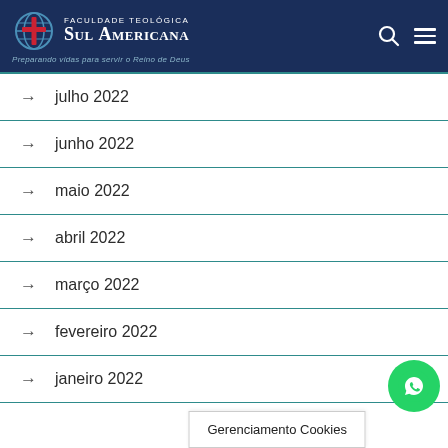Faculdade Teológica Sul Americana — Preparando vidas para servir o Reino de Deus
julho 2022
junho 2022
maio 2022
abril 2022
março 2022
fevereiro 2022
janeiro 2022
Gerenciamento Cookies